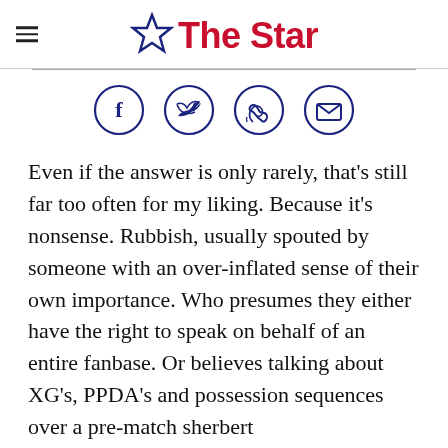The Star
[Figure (other): Social sharing icons: Facebook, Twitter, WhatsApp, Email — each in a dark blue circle outline]
Even if the answer is only rarely, that's still far too often for my liking. Because it's nonsense. Rubbish, usually spouted by someone with an over-inflated sense of their own importance. Who presumes they either have the right to speak on behalf of an entire fanbase. Or believes talking about XG's, PPDA's and possession sequences over a pre-match sherbert